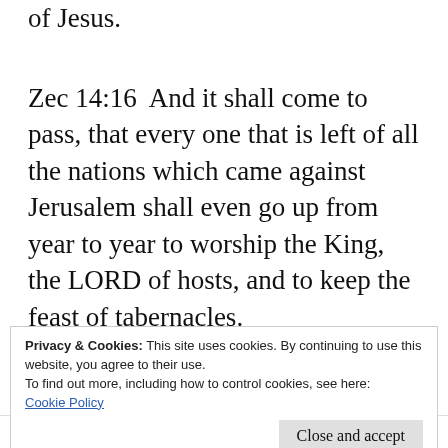of Jesus.
Zec 14:16  And it shall come to pass, that every one that is left of all the nations which came against Jerusalem shall even go up from year to year to worship the King, the LORD of hosts, and to keep the feast of tabernacles.
There will be unsaved mortals alive to
Privacy & Cookies: This site uses cookies. By continuing to use this website, you agree to their use.
To find out more, including how to control cookies, see here: Cookie Policy
Close and accept
Like